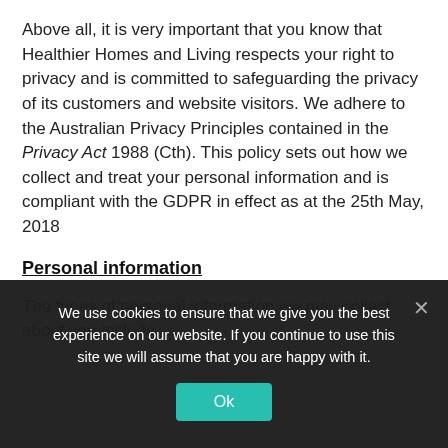Above all, it is very important that you know that Healthier Homes and Living respects your right to privacy and is committed to safeguarding the privacy of its customers and website visitors. We adhere to the Australian Privacy Principles contained in the Privacy Act 1988 (Cth). This policy sets out how we collect and treat your personal information and is compliant with the GDPR in effect as at the 25th May, 2018
Personal information
The types of personal information we may collect about you include:
We use cookies to ensure that we give you the best experience on our website. If you continue to use this site we will assume that you are happy with it.